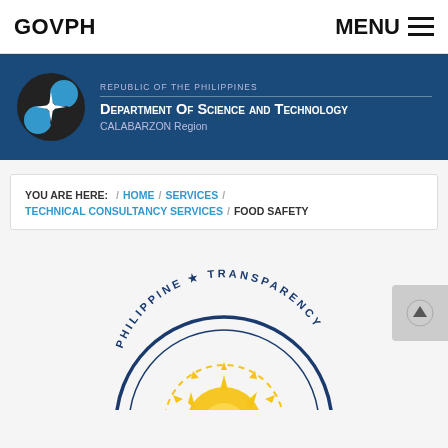GOVPH    MENU
[Figure (logo): Department of Science and Technology CALABARZON Region banner with logo showing overlapping circles in blue, black, and white with a four-pointed star. Text reads: REPUBLIC OF THE PHILIPPINES / DEPARTMENT OF SCIENCE AND TECHNOLOGY / CALABARZON Region]
YOU ARE HERE: / HOME / SERVICES / TECHNICAL CONSULTANCY SERVICES / FOOD SAFETY
[Figure (logo): Philippine Transparency Seal logo: circular seal with gold/yellow sun design and text 'PHILIPPINE TRANSPARENCY SEAL' around the border in dark blue, partially visible]